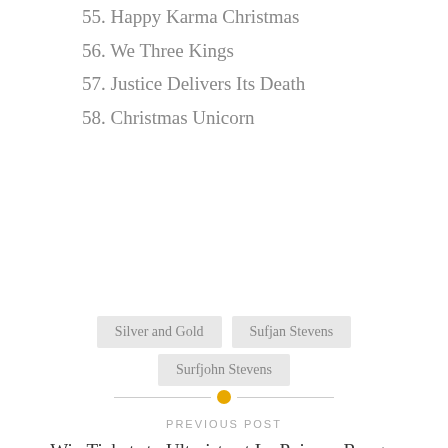55. Happy Karma Christmas
56. We Three Kings
57. Justice Delivers Its Death
58. Christmas Unicorn
Silver and Gold   Sufjan Stevens   Surfjohn Stevens
PREVIOUS POST
Win Tickets to Ultraista at Le Poisson Rouge, Debut Album Out Now